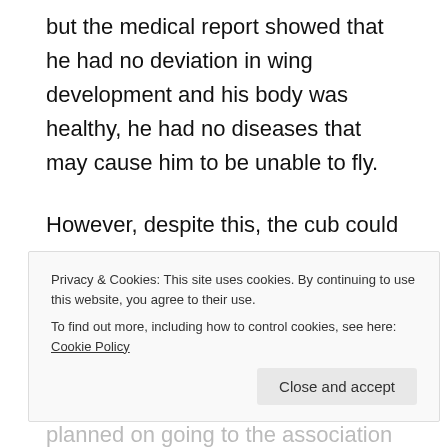but the medical report showed that he had no deviation in wing development and his body was healthy, he had no diseases that may cause him to be unable to fly.
However, despite this, the cub could still not fly, and he also seemed very resistant when people tried to make him fly, sigh, it all made Fuya feel both very distressed and anxious.
[partial text cut off at top of cookie banner]
Privacy & Cookies: This site uses cookies. By continuing to use this website, you agree to their use.
To find out more, including how to control cookies, see here: Cookie Policy
[partial text cut off at bottom: planned on going to the association platform and]